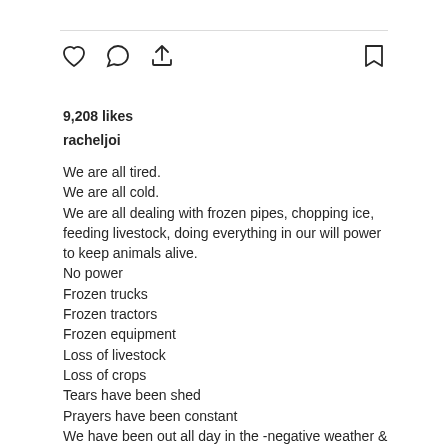[Figure (screenshot): Instagram post action icons: heart (like), comment bubble, share/upload arrow on the left; bookmark icon on the right]
9,208 likes
racheljoi
We are all tired.
We are all cold.
We are all dealing with frozen pipes, chopping ice, feeding livestock, doing everything in our will power to keep animals alive.
No power
Frozen trucks
Frozen tractors
Frozen equipment
Loss of livestock
Loss of crops
Tears have been shed
Prayers have been constant
We have been out all day in the -negative weather & up at nights checking wells & checking livestock.

Houses are covered in mud
Kids are going stir crazy from being stuck inside or in a feed pickup